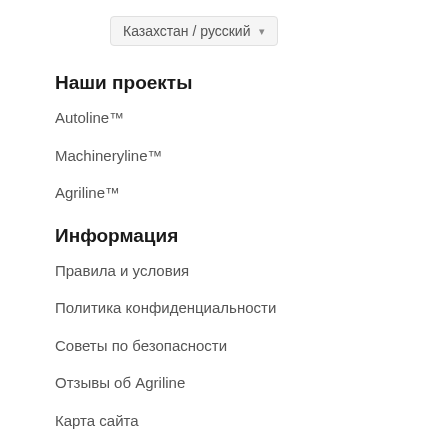[Figure (screenshot): Dropdown selector showing 'Казахстан / русский' with a dropdown arrow]
Наши проекты
Autoline™
Machineryline™
Agriline™
Информация
Правила и условия
Политика конфиденциальности
Советы по безопасности
Отзывы об Agriline
Карта сайта
Наши предложения